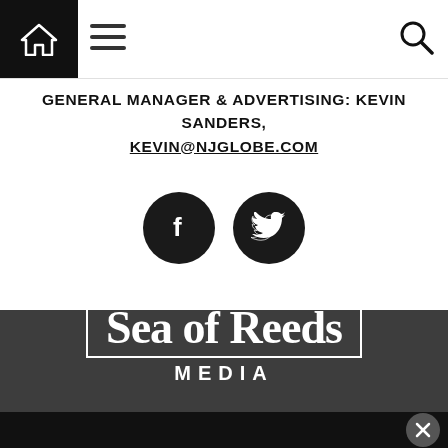Navigation bar with home icon, hamburger menu, and search icon
GENERAL MANAGER & ADVERTISING: KEVIN SANDERS, KEVIN@NJGLOBE.COM
[Figure (other): Two dark circular social media icons: Facebook (f) and Twitter (bird)]
[Figure (logo): Sea of Reeds Media logo — 'Sea of Reeds' in serif font inside a white rectangle border, 'MEDIA' in spaced sans-serif below]
ABOUT US